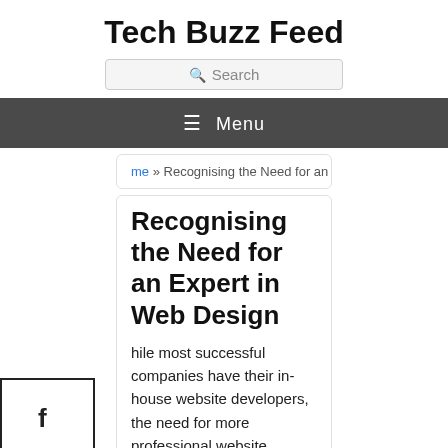Tech Buzz Feed
Search
≡ Menu
me » Recognising the Need for an Expert in Web Design
Recognising the Need for an Expert in Web Design
hile most successful companies have their in-house website developers, the need for more professional website designers has increased dramatically in recent years. As a business owner, you want your website to